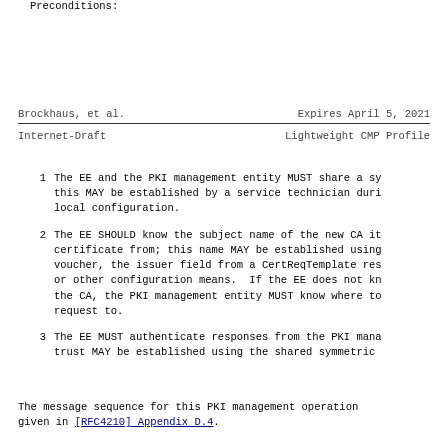Preconditions:
Brockhaus, et al.                    Expires April 5, 2021
Internet-Draft                    Lightweight CMP Profile
1  The EE and the PKI management entity MUST share a sy... this MAY be established by a service technician duri... local configuration.
2  The EE SHOULD know the subject name of the new CA it... certificate from; this name MAY be established using... voucher, the issuer field from a CertReqTemplate res... or other configuration means.  If the EE does not kn... the CA, the PKI management entity MUST know where to... request to.
3  The EE MUST authenticate responses from the PKI mana... trust MAY be established using the shared symmetric
The message sequence for this PKI management operation ... given in [RFC4210] Appendix D.4.